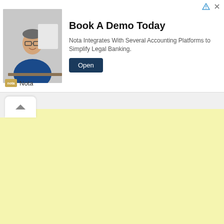[Figure (photo): Ad banner: man in glasses and blue shirt seated at desk, smiling at camera. Advertisement for Nota legal banking software.]
Book A Demo Today
Nota Integrates With Several Accounting Platforms to Simplify Legal Banking.
Open
Nota